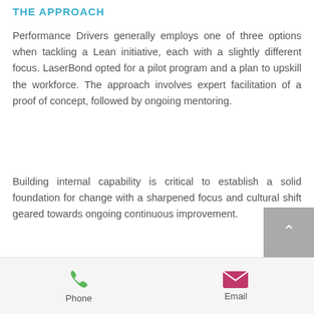THE APPROACH
Performance Drivers generally employs one of three options when tackling a Lean initiative, each with a slightly different focus. LaserBond opted for a pilot program and a plan to upskill the workforce. The approach involves expert facilitation of a proof of concept, followed by ongoing mentoring.
Building internal capability is critical to establish a solid foundation for change with a sharpened focus and cultural shift geared towards ongoing continuous improvement.
Phone  Email